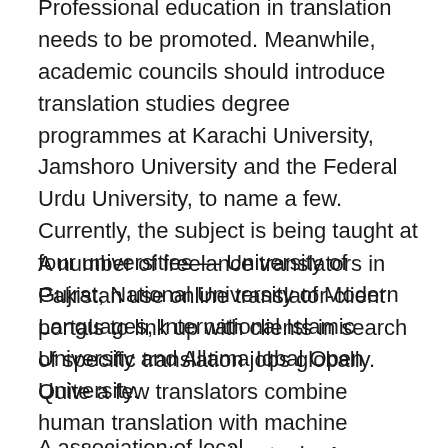Professional education in translation needs to be promoted. Meanwhile, academic councils should introduce translation studies degree programmes at Karachi University, Jamshoro University and the Federal Urdu University, to name a few. Currently, the subject is being taught at four universities — University of Gujrat, National University of Modern Languages, International Islamic University and Allama Iqbal Open University.
A number of freelance translators in Pakistan use online translator-client portals to link up with clients in search of specific translation jobs globally. Quite a few translators combine human translation with machine translation using online tools. An internet search on the current demand for translators in Pakistan shows an increasing demand for specific translation jobs.
A association of local...